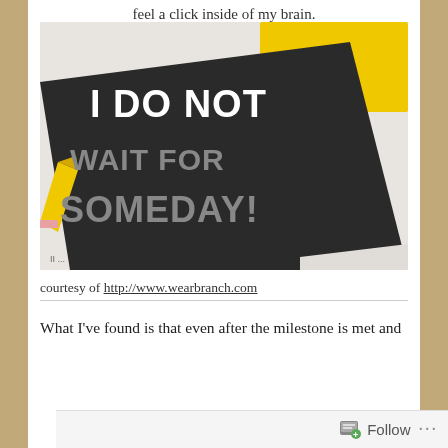feel a click inside of my brain.
[Figure (photo): A dark notebook with bold white text reading 'I DO NOT WAIT FOR SOMEDAY!' lying on a white surface next to a yellow pencil and a yellow rectangular object in the background.]
courtesy of http://www.wearbranch.com
What I've found is that even after the milestone is met and
Follow ...